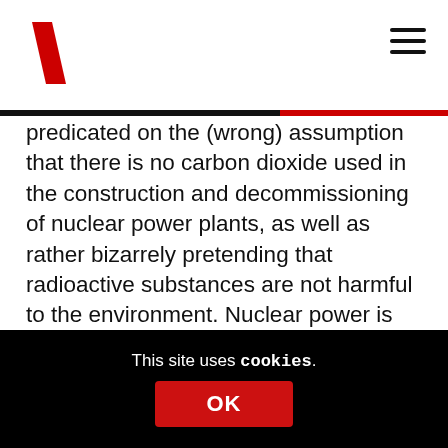[Figure (logo): Red diagonal slash logo (backslash shape) in top left corner]
predicated on the (wrong) assumption that there is no carbon dioxide used in the construction and decommissioning of nuclear power plants, as well as rather bizarrely pretending that radioactive substances are not harmful to the environment. Nuclear power is also a great example of why it’s such a shame that the term “fossil fuel” has been somewhat abandoned in energy debates, as people
This site uses cookies.
OK